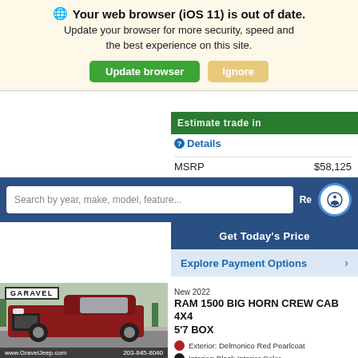🌐 Your web browser (iOS 11) is out of date. Update your browser for more security, speed and the best experience on this site.
Update browser | Ignore
Estimate trade in
❓Details
|  |  |
| --- | --- |
| MSRP | $58,125 |
Search by year, make, model, feature...
Get Today's Price
Explore Payment Options
[Figure (photo): Photo of a dark red 2022 RAM 1500 pickup truck with GARAVEL dealership badge overlay and website/phone number footer]
New 2022
RAM 1500 BIG HORN CREW CAB 4X4 5'7 BOX
Exterior: Delmonico Red Pearlcoat
Interior: Black Interior Color